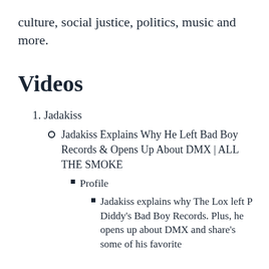culture, social justice, politics, music and more.
Videos
1. Jadakiss
Jadakiss Explains Why He Left Bad Boy Records & Opens Up About DMX | ALL THE SMOKE
Profile
Jadakiss explains why The Lox left P Diddy's Bad Boy Records. Plus, he opens up about DMX and share's some of his favorite